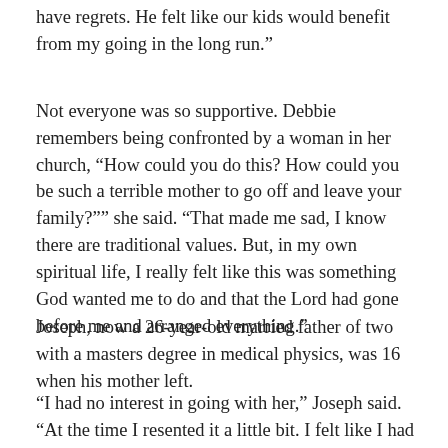have regrets. He felt like our kids would benefit from my going in the long run.”
Not everyone was so supportive. Debbie remembers being confronted by a woman in her church, “How could you do this? How could you be such a terrible mother to go off and leave your family?”” she said. “That made me sad, I know there are traditional values. But, in my own spiritual life, I really felt like this was something God wanted me to do and that the Lord had gone before me and arranged everything.”
Joseph, now a 26-year-old married father of two with a masters degree in medical physics, was 16 when his mother left.
“I had no interest in going with her,” Joseph said. “At the time I resented it a little bit. I felt like I had two years left at home and she was going to be gone for one of them. But, I had no interest in going with her. I was well...